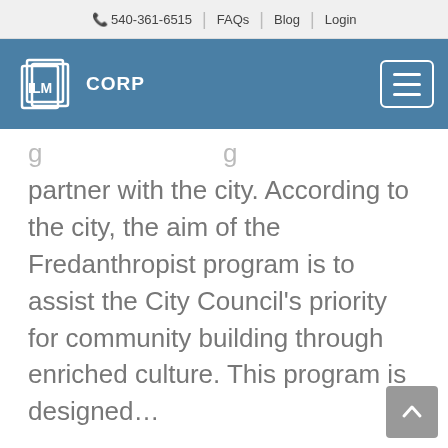📞 540-361-6515 | FAQs | Blog | Login
[Figure (logo): ILM CORP logo with stacked document icon on teal/blue navigation bar with hamburger menu button]
partner with the city. According to the city, the aim of the Fredanthropist program is to assist the City Council's priority for community building through enriched culture. This program is designed...